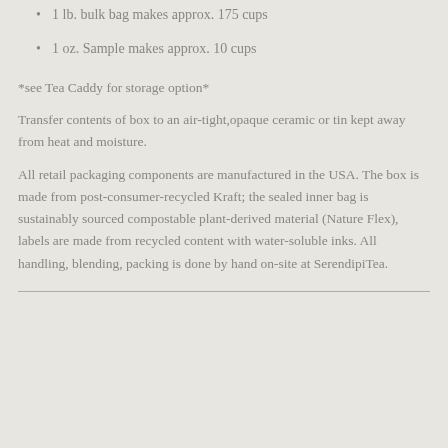1 lb. bulk bag makes approx. 175 cups
1 oz. Sample makes approx. 10 cups
*see Tea Caddy for storage option*
Transfer contents of box to an air-tight,opaque ceramic or tin kept away from heat and moisture.
All retail packaging components are manufactured in the USA. The box is made from post-consumer-recycled Kraft; the sealed inner bag is sustainably sourced compostable plant-derived material (Nature Flex), labels are made from recycled content with water-soluble inks. All handling, blending, packing is done by hand on-site at SerendipiTea.